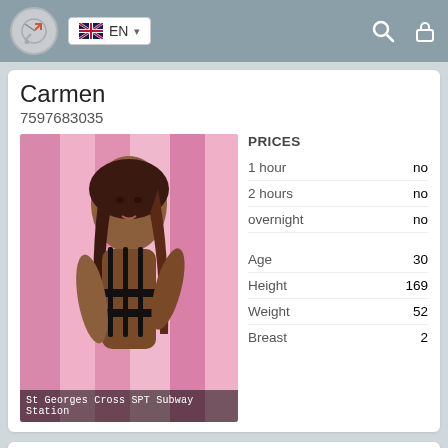EN
Carmen
7597683035
[Figure (photo): Woman posing in front of pink curtain background. Location caption: St Georges Cross SPT Subway Station]
|  |  |
| --- | --- |
| PRICES |  |
| 1 hour | no |
| 2 hours | no |
| overnight | no |
| Age | 30 |
| Height | 169 |
| Weight | 52 |
| Breast | 2 |
Cristal
7521657158